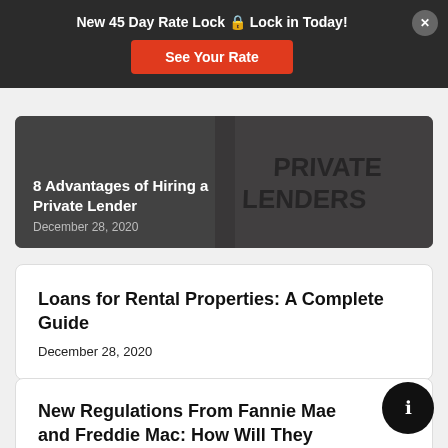New 45 Day Rate Lock 🔒 Lock in Today!
See Your Rate
[Figure (photo): Photo of hands holding a sign with 'PRIVATE LENDERS' text, overlaid with article title]
8 Advantages of Hiring a Private Lender
December 28, 2020
Loans for Rental Properties: A Complete Guide
December 28, 2020
New Regulations From Fannie Mae and Freddie Mac: How Will They Impact Rental Property Financing?